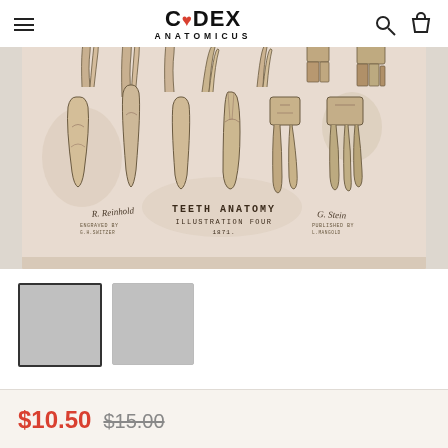CODEX ANATOMICUS
[Figure (illustration): Vintage teeth anatomy illustration titled 'TEETH ANATOMY ILLUSTRATION FOUR' showing multiple teeth with roots, displayed on aged parchment-style background with signatures]
[Figure (photo): Thumbnail 1 - selected product image]
[Figure (photo): Thumbnail 2 - alternate product view]
$10.50 $15.00